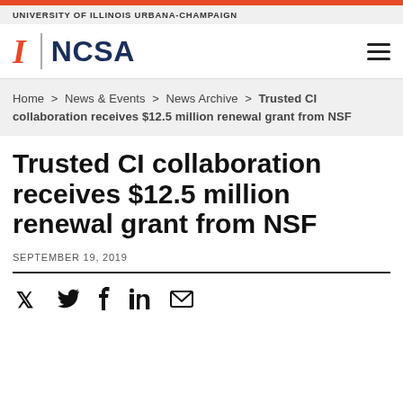UNIVERSITY OF ILLINOIS URBANA-CHAMPAIGN
[Figure (logo): University of Illinois block I logo in orange, vertical divider, and NCSA text logo in dark navy, with hamburger menu icon on the right]
Home > News & Events > News Archive > Trusted CI collaboration receives $12.5 million renewal grant from NSF
Trusted CI collaboration receives $12.5 million renewal grant from NSF
SEPTEMBER 19, 2019
[Figure (infographic): Social sharing icons: Twitter bird, Facebook f, LinkedIn in, and envelope/email icon]